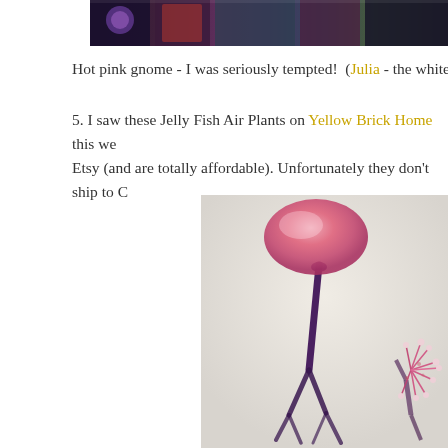[Figure (photo): Cropped top portion of a decorative photo or banner image showing colorful objects including what appears to be books or decorative items with dark and purple hues]
Hot pink gnome - I was seriously tempted!  (Julia - the white one
5. I saw these Jelly Fish Air Plants on Yellow Brick Home this we Etsy (and are totally affordable). Unfortunately they don't ship to C
[Figure (photo): A close-up artistic photograph of what appears to be jellyfish air plants (Tillandsia) against a light grey/cream background. The image shows blurred pink bulbous top and dark purple stem-like structures with wispy tentacle-like roots, and a second plant with spiky white and pink flower-like bloom visible at the lower right.]